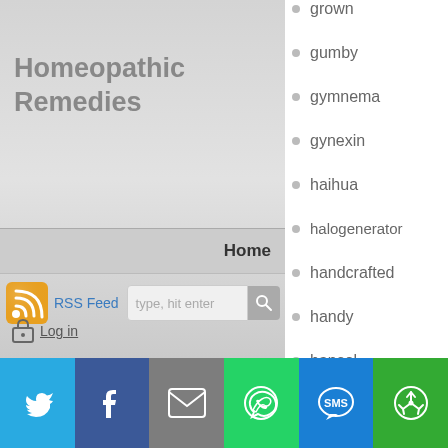Homeopathic Remedies
Home
[Figure (other): RSS Feed icon (orange wifi symbol)]
RSS Feed
type, hit enter
grown
gumby
gymnema
gynexin
haihua
halogenerator
handcrafted
handy
hansol
happy
hd-max
healcity
health
healthyline
healy
heat
heavy
height
Log in
[Figure (other): Social sharing bar with Twitter, Facebook, Email, WhatsApp, SMS, and Share buttons]